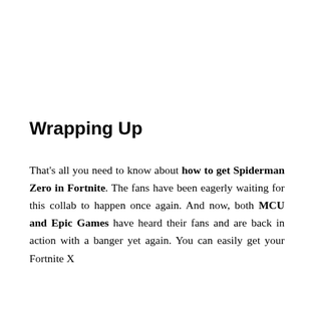Wrapping Up
That's all you need to know about how to get Spiderman Zero in Fortnite. The fans have been eagerly waiting for this collab to happen once again. And now, both MCU and Epic Games have heard their fans and are back in action with a banger yet again. You can easily get your Fortnite X